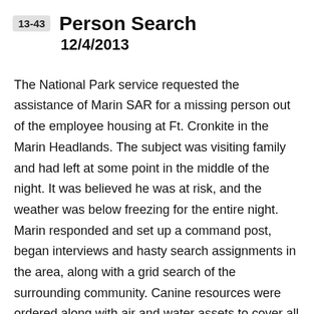13-43 Person Search 12/4/2013
The National Park service requested the assistance of Marin SAR for a missing person out of the employee housing at Ft. Cronkite in the Marin Headlands. The subject was visiting family and had left at some point in the middle of the night. It was believed he was at risk, and the weather was below freezing for the entire night. Marin responded and set up a command post, began interviews and hasty search assignments in the area, along with a grid search of the surrounding community. Canine resources were ordered along with air and water assets to cover all possible scenarios. As